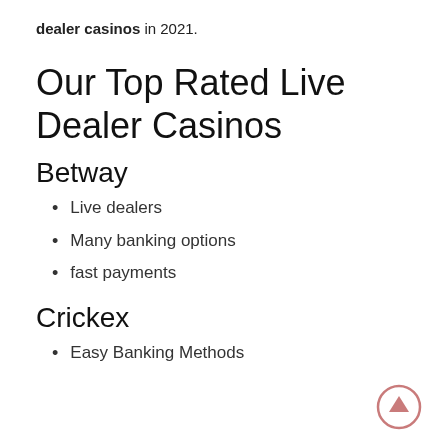dealer casinos in 2021.
Our Top Rated Live Dealer Casinos
Betway
Live dealers
Many banking options
fast payments
Crickex
Easy Banking Methods